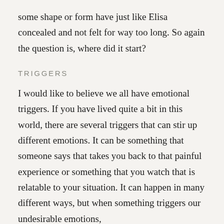some shape or form have just like Elisa concealed and not felt for way too long. So again the question is, where did it start?
TRIGGERS
I would like to believe we all have emotional triggers. If you have lived quite a bit in this world, there are several triggers that can stir up different emotions. It can be something that someone says that takes you back to that painful experience or something that you watch that is relatable to your situation. It can happen in many different ways, but when something triggers our undesirable emotions,